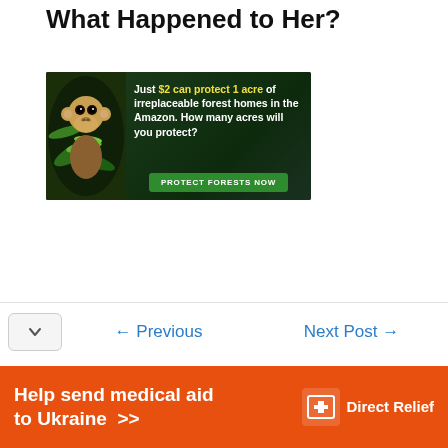What Happened to Her?
[Figure (infographic): Advertisement banner for Amazon forest conservation. Shows a monkey amid green leaves on the left. Text reads: 'Just $2 can protect 1 acre of irreplaceable forest homes in the Amazon. How many acres will you protect?' with a green 'PROTECT FORESTS NOW' button.]
← Previous
Next Post →
[Figure (infographic): Orange advertisement banner for Direct Relief charity. Text reads 'Help send medical aid to Ukraine >>' with the Direct Relief logo (white icon and text) on the right.]